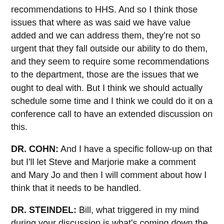recommendations to HHS. And so I think those issues that where as was said we have value added and we can address them, they're not so urgent that they fall outside our ability to do them, and they seem to require some recommendations to the department, those are the issues that we ought to deal with. But I think we should actually schedule some time and I think we could do it on a conference call to have an extended discussion on this.
DR. COHN: And I have a specific follow-up on that but I'll let Steve and Marjorie make a comment and Mary Jo and then I will comment about how I think that it needs to be handled.
DR. STEINDEL: Bill, what triggered in my mind during your discussion is what's coming down the pike and what Jeff was saying about architecture, etc., should we perhaps think about scheduling something with regard to what's in the when it comes out, whatever that might be? I mean th...